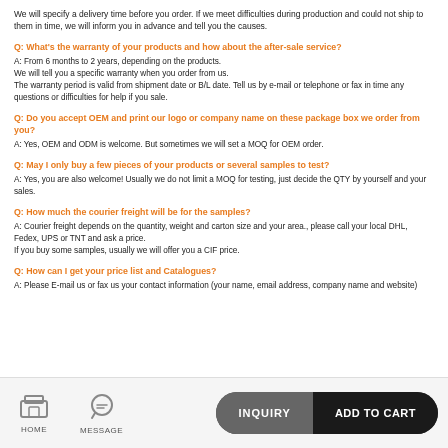We will specify a delivery time before you order. If we meet difficulties during production and could not ship to them in time, we will inform you in advance and tell you the causes.
Q: What's the warranty of your products and how about the after-sale service?
A: From 6 months to 2 years, depending on the products.
We will tell you a specific warranty when you order from us.
The warranty period is valid from shipment date or B/L date. Tell us by e-mail or telephone or fax in time any questions or difficulties for help if you sale.
Q: Do you accept OEM and print our logo or company name on these package box we order from you?
A: Yes, OEM and ODM is welcome. But sometimes we will set a MOQ for OEM order.
Q: May I only buy a few pieces of your products or several samples to test?
A: Yes, you are also welcome! Usually we do not limit a MOQ for testing, just decide the QTY by yourself and your sales.
Q: How much the courier freight will be for the samples?
A: Courier freight depends on the quantity, weight and carton size and your area., please call your local DHL, Fedex, UPS or TNT and ask a price.
If you buy some samples, usually we will offer you a CIF price.
Q: How can I get your price list and Catalogues?
A: Please E-mail us or fax us your contact information (your name, email address, company name and website)
HOME  MESSAGE  INQUIRY  ADD TO CART